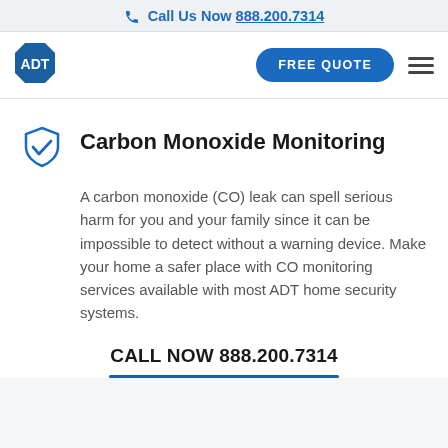Call Us Now 888.200.7314
[Figure (logo): ADT logo - white text on dark blue octagon]
Carbon Monoxide Monitoring
A carbon monoxide (CO) leak can spell serious harm for you and your family since it can be impossible to detect without a warning device. Make your home a safer place with CO monitoring services available with most ADT home security systems.
CALL NOW 888.200.7314